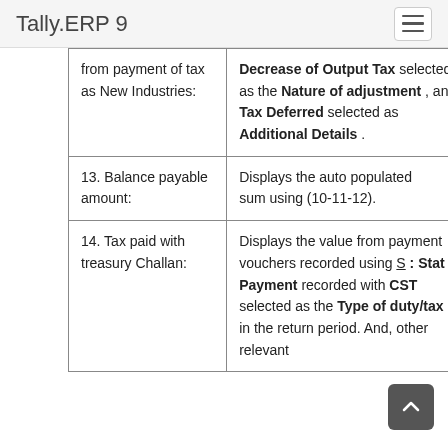Tally.ERP 9
| from payment of tax as New Industries: | Decrease of Output Tax selected as the Nature of adjustment , and Tax Deferred selected as Additional Details . |
| 13. Balance payable amount: | Displays the auto populated sum using (10-11-12). |
| 14. Tax paid with treasury Challan: | Displays the value from payment vouchers recorded using S : Stat Payment recorded with CST selected as the Type of duty/tax in the return period. And, other relevant |